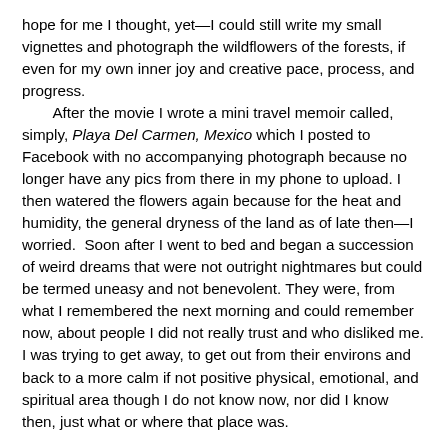hope for me I thought, yet—I could still write my small vignettes and photograph the wildflowers of the forests, if even for my own inner joy and creative pace, process, and progress.
	After the movie I wrote a mini travel memoir called, simply, Playa Del Carmen, Mexico which I posted to Facebook with no accompanying photograph because no longer have any pics from there in my phone to upload. I then watered the flowers again because for the heat and humidity, the general dryness of the land as of late then—I worried.  Soon after I went to bed and began a succession of weird dreams that were not outright nightmares but could be termed uneasy and not benevolent. They were, from what I remembered the next morning and could remember now, about people I did not really trust and who disliked me. I was trying to get away, to get out from their environs and back to a more calm if not positive physical, emotional, and spiritual area though I do not know now, nor did I know then, just what or where that place was.
—Brian Michael Barbeito